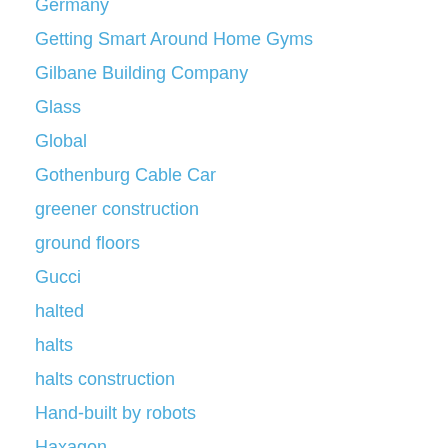Germany
Getting Smart Around Home Gyms
Gilbane Building Company
Glass
Global
Gothenburg Cable Car
greener construction
ground floors
Gucci
halted
halts
halts construction
Hand-built by robots
Haxagon
Heavy plate from Dillinger
highways
Hilti
HKS